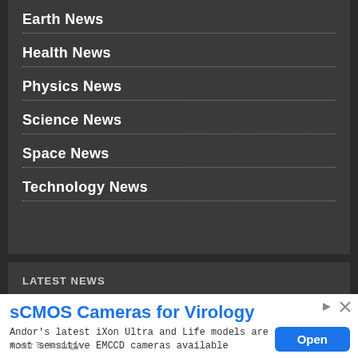Earth News
Health News
Physics News
Science News
Space News
Technology News
LATEST NEWS
[Figure (screenshot): Advertisement banner for sCMOS Cameras for Virology by Andor Technology. Title: sCMOS Cameras for Virology. Body: Andor's latest iXon Ultra and Life models are the most sensitive EMCCD cameras available. Footer: Andor Technology. Button: Open.]